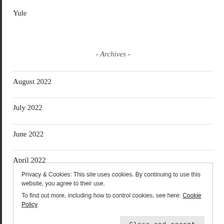Yule
- Archives -
August 2022
July 2022
June 2022
April 2022
Privacy & Cookies: This site uses cookies. By continuing to use this website, you agree to their use.
To find out more, including how to control cookies, see here: Cookie Policy
Close and accept